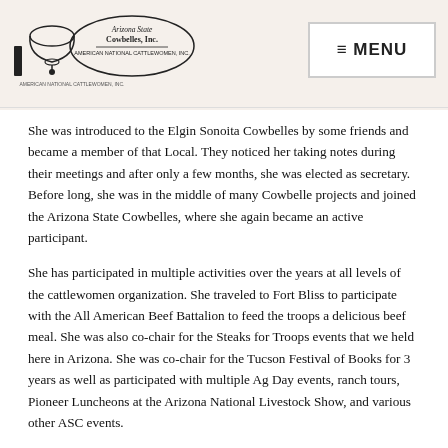Arizona State Cowbelles, Inc. — MENU
She was introduced to the Elgin Sonoita Cowbelles by some friends and became a member of that Local. They noticed her taking notes during their meetings and after only a few months, she was elected as secretary. Before long, she was in the middle of many Cowbelle projects and joined the Arizona State Cowbelles, where she again became an active participant.
She has participated in multiple activities over the years at all levels of the cattlewomen organization. She traveled to Fort Bliss to participate with the All American Beef Battalion to feed the troops a delicious beef meal. She was also co-chair for the Steaks for Troops events that we held here in Arizona. She was co-chair for the Tucson Festival of Books for 3 years as well as participated with multiple Ag Day events, ranch tours, Pioneer Luncheons at the Arizona National Livestock Show, and various other ASC events.
She is the chair of Sonoita Hills Church and a member of multiple civic and political groups in Southern Arizona. Her many other accomplishments are too numerous to mention.
She has held the position of ASC...